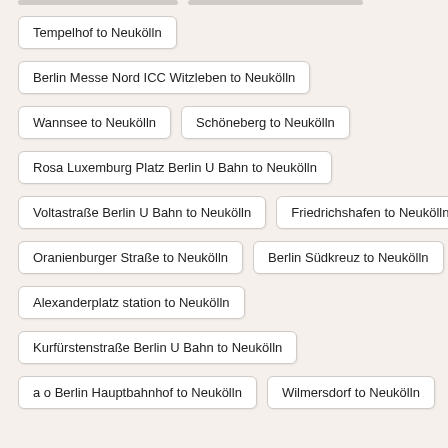Tempelhof to Neukölln
Berlin Messe Nord ICC Witzleben to Neukölln
Wannsee to Neukölln
Schöneberg to Neukölln
Rosa Luxemburg Platz Berlin U Bahn to Neukölln
Voltastraße Berlin U Bahn to Neukölln
Friedrichshafen to Neukölln
Oranienburger Straße to Neukölln
Berlin Südkreuz to Neukölln
Alexanderplatz station to Neukölln
Kurfürstenstraße Berlin U Bahn to Neukölln
a o Berlin Hauptbahnhof to Neukölln
Wilmersdorf to Neukölln